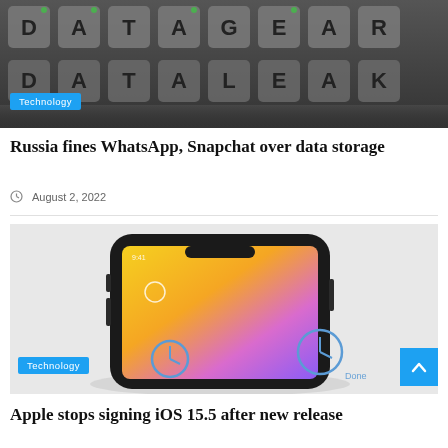[Figure (photo): Dark background with letter tiles spelling DATA GEAR / data-related words, with reflective surface]
Technology
Russia fines WhatsApp, Snapchat over data storage
August 2, 2022
[Figure (photo): iPhone with colorful gradient screen (yellow to purple) showing Apple Card or similar app, lying flat on white surface]
Technology
Apple stops signing iOS 15.5 after new release